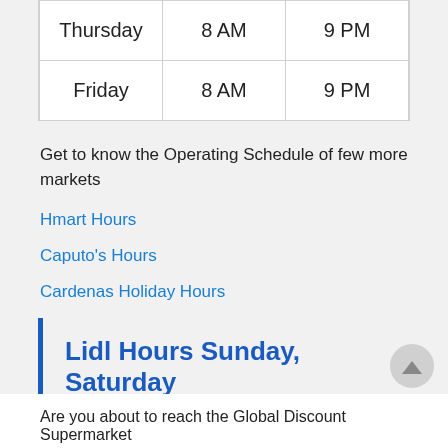| Thursday | 8 AM | 9 PM |
| Friday | 8 AM | 9 PM |
Get to know the Operating Schedule of few more markets
Hmart Hours
Caputo's Hours
Cardenas Holiday Hours
Lidl Hours Sunday, Saturday
Are you about to reach the Global Discount Supermarket